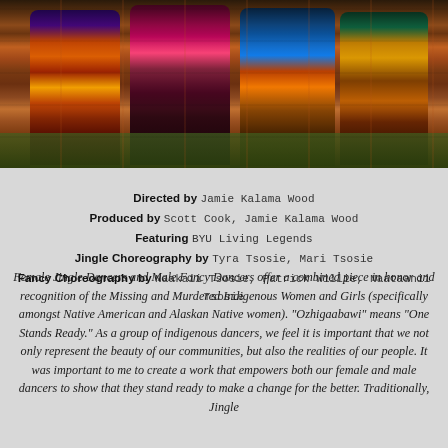[Figure (photo): Indigenous dancers in colorful traditional regalia including jingle dress and fancy dance outfits, standing on grass outdoors.]
Directed by Jamie Kalama Wood
Produced by Scott Cook, Jamie Kalama Wood
Featuring BYU Living Legends
Jingle Choreography by Tyra Tsosie, Mari Tsosie
Fancy Choreography by Naakaii Tsosie, Patrick Willie, Naataanii Tsosie
Female Jingle Dancers and Male Fancy Dancers offer a combined piece in honor and recognition of the Missing and Murdered Indigenous Women and Girls (specifically amongst Native American and Alaskan Native women). "Ozhigaabawi" means "One Stands Ready." As a group of indigenous dancers, we feel it is important that we not only represent the beauty of our communities, but also the realities of our people. It was important to me to create a work that empowers both our female and male dancers to show that they stand ready to make a change for the better. Traditionally, Jingle